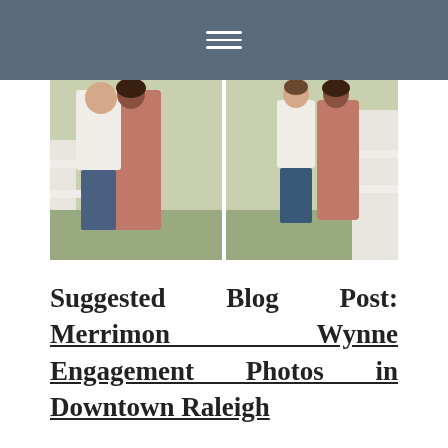Navigation menu icon (hamburger)
[Figure (photo): Two side-by-side engagement photos of a couple outdoors near a white fence. Left photo shows the couple embracing closely, woman in pink/mauve dress and man in white shirt and jeans. Right photo shows the couple standing apart near the fence, full-body shot.]
Suggested Blog Post: Merrimon Wynne Engagement Photos in Downtown Raleigh